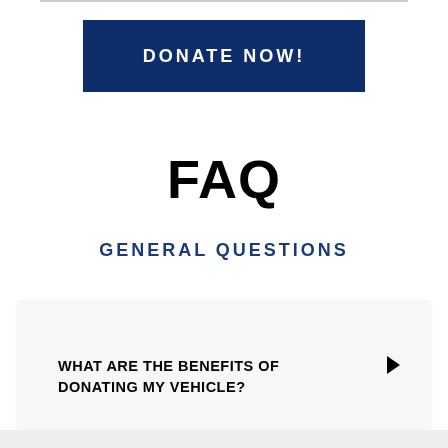[Figure (other): Dark navy blue donate button banner with white bold uppercase text 'DONATE NOW!']
FAQ
GENERAL QUESTIONS
WHAT ARE THE BENEFITS OF DONATING MY VEHICLE?